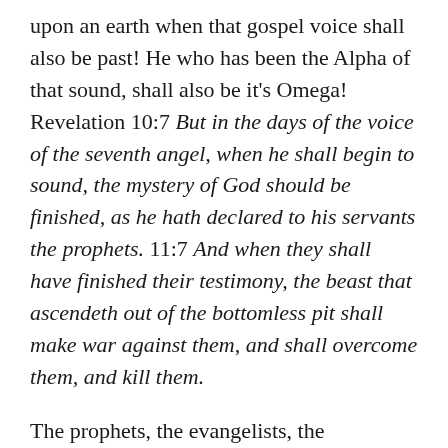upon an earth when that gospel voice shall also be past! He who has been the Alpha of that sound, shall also be it's Omega! Revelation 10:7 But in the days of the voice of the seventh angel, when he shall begin to sound, the mystery of God should be finished, as he hath declared to his servants the prophets. 11:7 And when they shall have finished their testimony, the beast that ascendeth out of the bottomless pit shall make war against them, and shall overcome them, and kill them.
The prophets, the evangelists, the preachers, the pastors, and the missionaries shall all be silenced. The revelation of the gospel – the mystery of God – shall be silenced, and eternally finished. The voice of unquenchable judgment shall now begin!